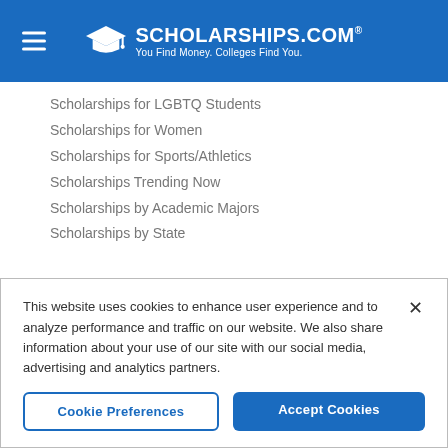SCHOLARSHIPS.COM® You Find Money. Colleges Find You.
Scholarships for LGBTQ Students
Scholarships for Women
Scholarships for Sports/Athletics
Scholarships Trending Now
Scholarships by Academic Majors
Scholarships by State
College
This website uses cookies to enhance user experience and to analyze performance and traffic on our website. We also share information about your use of our site with our social media, advertising and analytics partners.
Cookie Preferences
Accept Cookies